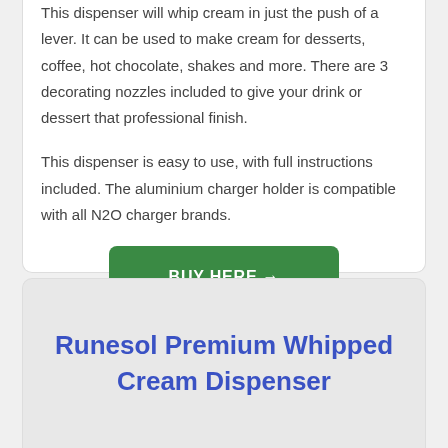This dispenser will whip cream in just the push of a lever. It can be used to make cream for desserts, coffee, hot chocolate, shakes and more. There are 3 decorating nozzles included to give your drink or dessert that professional finish.
This dispenser is easy to use, with full instructions included. The aluminium charger holder is compatible with all N2O charger brands.
[Figure (other): Green button/link labeled 'BUY HERE →']
Runesol Premium Whipped Cream Dispenser